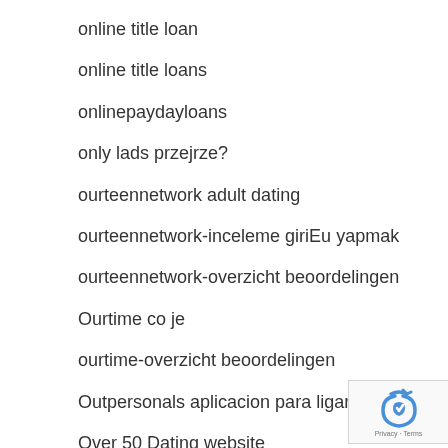online title loan
online title loans
onlinepaydayloans
only lads przejrze?
ourteennetwork adult dating
ourteennetwork-inceleme giriEu yapmak
ourteennetwork-overzicht beoordelingen
Ourtime co je
ourtime-overzicht beoordelingen
Outpersonals aplicacion para ligar
Over 50 Dating website